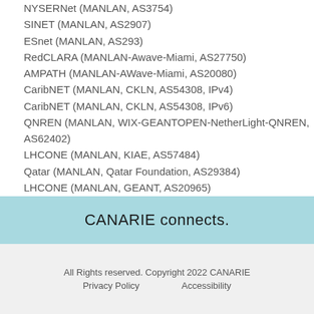NYSERNet (MANLAN, AS3754)
SINET (MANLAN, AS2907)
ESnet (MANLAN, AS293)
RedCLARA (MANLAN-Awave-Miami, AS27750)
AMPATH (MANLAN-AWave-Miami, AS20080)
CaribNET (MANLAN, CKLN, AS54308, IPv4)
CaribNET (MANLAN, CKLN, AS54308, IPv6)
QNREN (MANLAN, WIX-GEANTOPEN-NetherLight-QNREN, AS62402)
LHCONE (MANLAN, KIAE, AS57484)
Qatar (MANLAN, Qatar Foundation, AS29384)
LHCONE (MANLAN, GEANT, AS20965)
GEANT (MANLAN,  AS20965)
10228CS04-SFU-VNCV1-TORO1 (LHCOPN via MANLAN)
CANARIE connects.
All Rights reserved. Copyright 2022 CANARIE  Privacy Policy    Accessibility